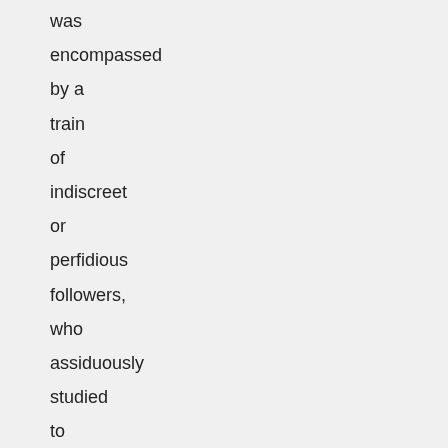was encompassed by a train of indiscreet or perfidious followers, who assiduously studied to inflame, and who were perhaps instructed to betray, the unguarded warmth of his resentment. An edict of Constantine, published about this